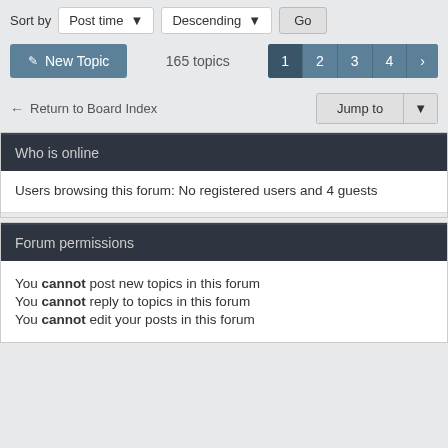Sort by  Post time ▾  Descending ▾  Go
✎ New Topic   165 topics   1 2 3 4 ›
← Return to Board Index   Jump to ▾
Who is online
Users browsing this forum: No registered users and 4 guests
Forum permissions
You cannot post new topics in this forum
You cannot reply to topics in this forum
You cannot edit your posts in this forum